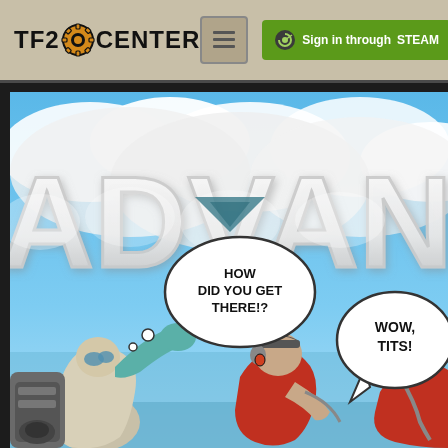[Figure (screenshot): TF2Center website header with logo showing 'TF2CENTER' with gear icon, a menu button, and a green 'Sign in through STEAM' button on a tan/khaki background]
[Figure (illustration): TF2 (Team Fortress 2) promotional comic-style illustration showing game characters (Engineer and Scout) against a blue sky background with large cloud-formed text reading 'ADVAN' (part of ADVANCED). Two comic speech bubbles: one thought bubble saying 'HOW DID YOU GET THERE!?' and one speech bubble saying 'WOW, TITS!']